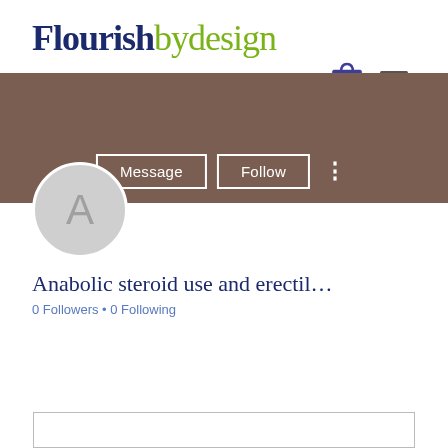Flourishbydesign
[Figure (screenshot): Website navigation icons: shopping bag with 0 count and hamburger menu]
[Figure (screenshot): User profile banner in brown/mauve color with Message, Follow buttons and three-dot menu. Avatar circle with letter A below.]
Anabolic steroid use and erectil…
0 Followers • 0 Following
[Figure (screenshot): Bottom box border (partial content card)]